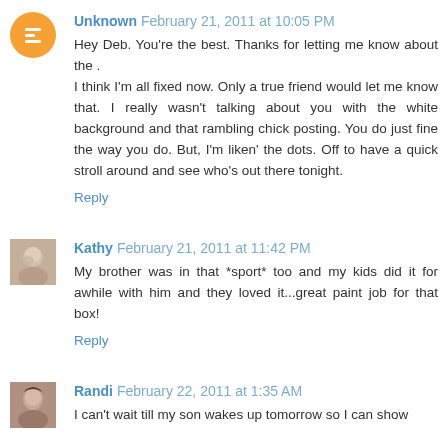Unknown February 21, 2011 at 10:05 PM
Hey Deb. You're the best. Thanks for letting me know about the .
I think I'm all fixed now. Only a true friend would let me know that. I really wasn't talking about you with the white background and that rambling chick posting. You do just fine the way you do. But, I'm liken' the dots. Off to have a quick stroll around and see who's out there tonight.
Reply
Kathy February 21, 2011 at 11:42 PM
My brother was in that *sport* too and my kids did it for awhile with him and they loved it...great paint job for that box!
Reply
Randi February 22, 2011 at 1:35 AM
I can't wait till my son wakes up tomorrow so I can show